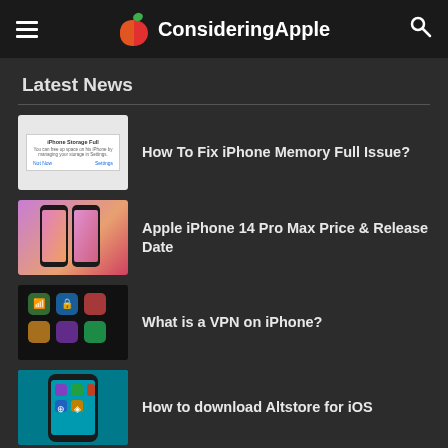ConsideringApple
Latest News
How To Fix iPhone Memory Full Issue?
Apple iPhone 14 Pro Max Price & Release Date
What is a VPN on iPhone?
How to download Altstore for iOS
Apple Car Play Not Working: How to Fix It?
Trending News